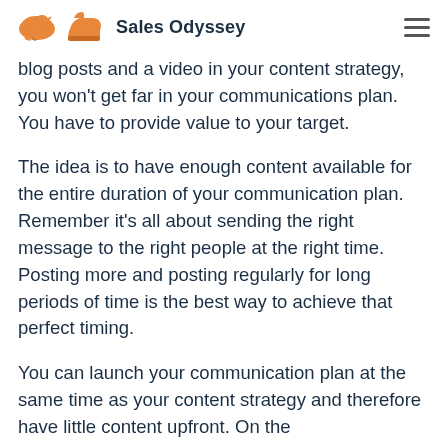Sales Odyssey
blog posts and a video in your content strategy, you won't get far in your communications plan. You have to provide value to your target.
The idea is to have enough content available for the entire duration of your communication plan. Remember it’s all about sending the right message to the right people at the right time. Posting more and posting regularly for long periods of time is the best way to achieve that perfect timing.
You can launch your communication plan at the same time as your content strategy and therefore have little content upfront. On the